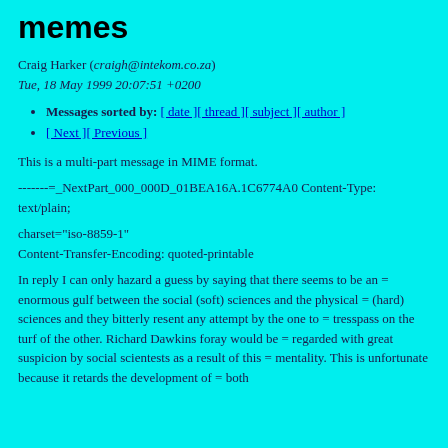memes
Craig Harker (craigh@intekom.co.za)
Tue, 18 May 1999 20:07:51 +0200
Messages sorted by: [ date ][ thread ][ subject ][ author ]
[ Next ][ Previous ]
This is a multi-part message in MIME format.
-------=_NextPart_000_000D_01BEA16A.1C6774A0 Content-Type: text/plain;
charset="iso-8859-1"
Content-Transfer-Encoding: quoted-printable
In reply I can only hazard a guess by saying that there seems to be an = enormous gulf between the social (soft) sciences and the physical = (hard) sciences and they bitterly resent any attempt by the one to = tresspass on the turf of the other. Richard Dawkins foray would be = regarded with great suspicion by social scientests as a result of this = mentality. This is unfortunate because it retards the development of = both